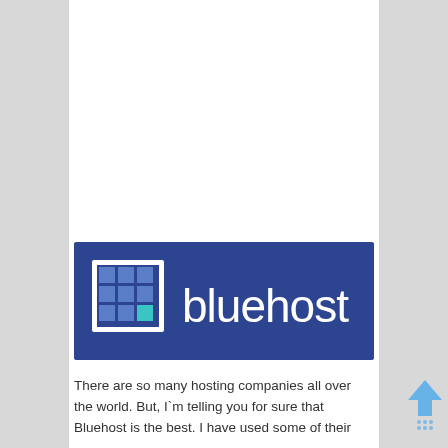[Figure (logo): Bluehost logo: dark blue rectangle with a white-bordered grid icon (3x3 squares, bottom-right square teal/cyan) on the left, and the word 'bluehost' in white sans-serif text on the right]
There are so many hosting companies all over the world. But, I`m telling you for sure that Bluehost is the best. I have used some of their